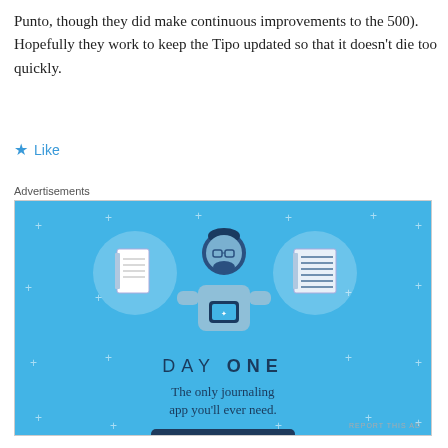Punto, though they did make continuous improvements to the 500). Hopefully they work to keep the Tipo updated so that it doesn't die too quickly.
★ Like
Advertisements
[Figure (illustration): Day One journaling app advertisement with blue background, illustrated figure holding a phone flanked by notebook icons in circles, text 'DAY ONE', 'The only journaling app you'll ever need.', and 'Get the app' button.]